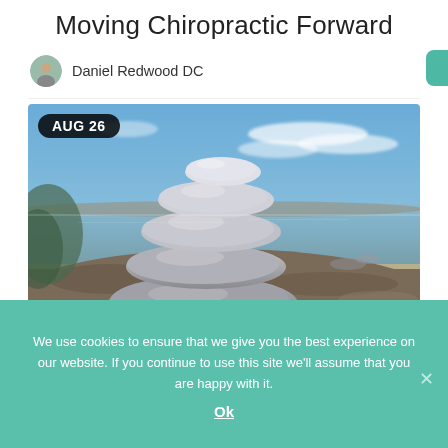Moving Chiropractic Forward
Daniel Redwood DC
[Figure (photo): Stack of smooth balanced rocks/stones on a rocky shoreline at sunset with a blue sky and clouds in the background. Date badge 'AUG 26' overlaid in top left.]
We use cookies to ensure that we give you the best experience on our website. If you continue to use this site we'll assume that you are happy with it.
Ok